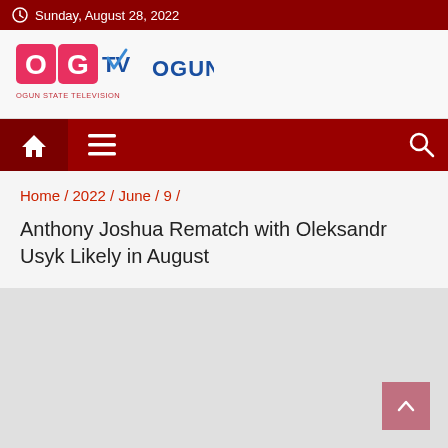Sunday, August 28, 2022
[Figure (logo): OG TV - Ogun State Television logo with stylized OG letters in pink/red and blue TV checkmark, with text OGUN STATE TELEVISION in blue]
Home / 2022 / June / 9 /
Anthony Joshua Rematch with Oleksandr Usyk Likely in August